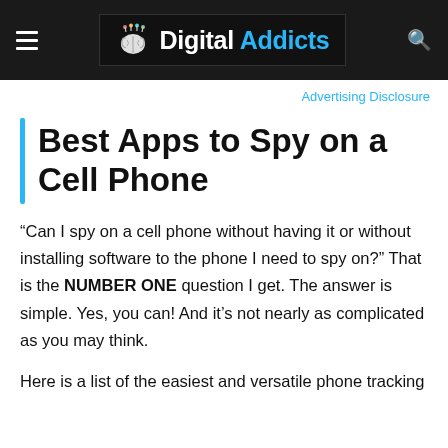Digital Addicts
Advertising Disclosure
Best Apps to Spy on a Cell Phone
“Can I spy on a cell phone without having it or without installing software to the phone I need to spy on?” That is the NUMBER ONE question I get. The answer is simple. Yes, you can! And it’s not nearly as complicated as you may think.
Here is a list of the easiest and versatile phone tracking